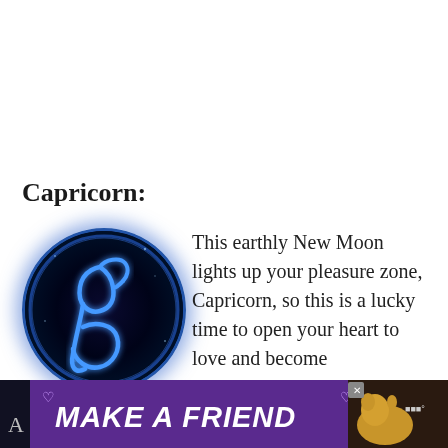Capricorn:
[Figure (illustration): Circular badge with dark navy/black background and a glowing blue Capricorn zodiac glyph symbol, with a blue glowing border ring around it.]
This earthly New Moon lights up your pleasure zone, Capricorn, so this is a lucky time to open your heart to love and become sensual with your feelings.
[Figure (other): Advertisement banner with dark purple background reading 'MAKE A FRIEND' in large white italic bold text, with a dog photo and heart icons, and a close button. Bottom of page.]